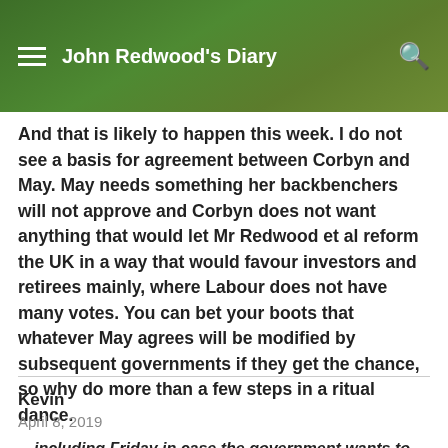John Redwood's Diary
And that is likely to happen this week. I do not see a basis for agreement between Corbyn and May. May needs something her backbenchers will not approve and Corbyn does not want anything that would let Mr Redwood et al reform the UK in a way that would favour investors and retirees mainly, where Labour does not have many votes. You can bet your boots that whatever May agrees will be modified by subsequent governments if they get the chance, so why do more than a few steps in a ritual dance.
Kevin
April 8, 2019
…including Friday in case the government wants to do something…